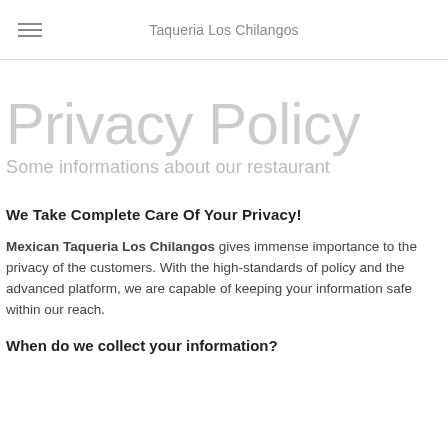Taqueria Los Chilangos
Privacy Policy
Some informations about our restaurant
We Take Complete Care Of Your Privacy!
Mexican Taqueria Los Chilangos gives immense importance to the privacy of the customers. With the high-standards of policy and the advanced platform, we are capable of keeping your information safe within our reach.
When do we collect your information?